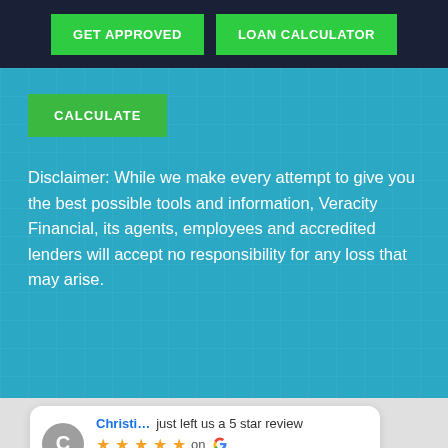GET APPROVED   LOAN CALCULATOR
CALCULATE
Disclaimer: While we make every attempt to give you the best possible tools and information, Veracity Financial, its agents, employees and accredited lenders will accept no responsibility for any loss that may arise.
Christi... just left us a 5 star review ★★★★★ on G 19 days ago